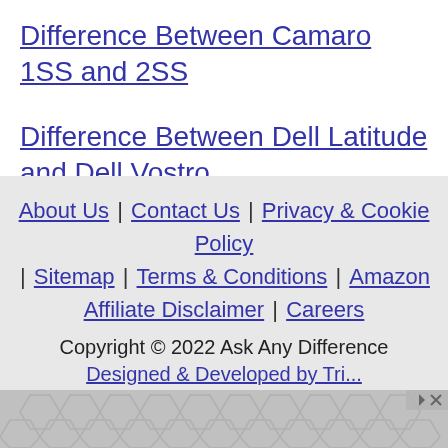Difference Between Camaro 1SS and 2SS
Difference Between Dell Latitude and Dell Vostro
About Us | Contact Us | Privacy & Cookie Policy | Sitemap | Terms & Conditions | Amazon Affiliate Disclaimer | Careers
Copyright © 2022 Ask Any Difference